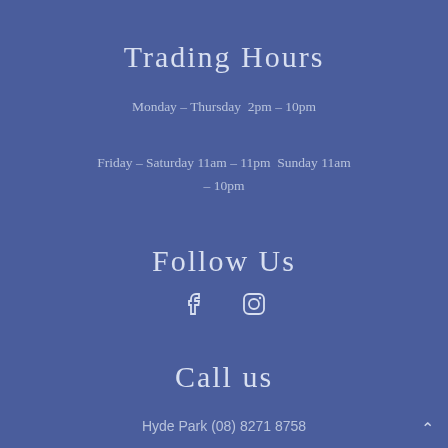Trading Hours
Monday – Thursday  2pm – 10pm
Friday – Saturday 11am – 11pm  Sunday 11am – 10pm
Follow Us
[Figure (illustration): Facebook and Instagram social media icons in white outline on blue background]
Call us
Hyde Park (08) 8271 8758